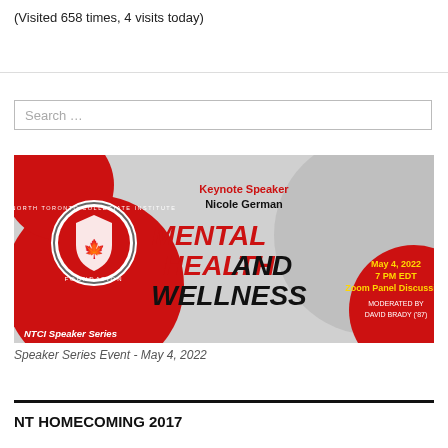(Visited 658 times, 4 visits today)
Search …
[Figure (illustration): NTCI Speaker Series event banner for Mental Health and Wellness keynote by Nicole German, May 4, 2022, 7 PM EDT, Zoom Panel Discussion, moderated by David Brady ('87). Red and grey design with NTCI Foundation logo.]
Speaker Series Event - May 4, 2022
NT HOMECOMING 2017